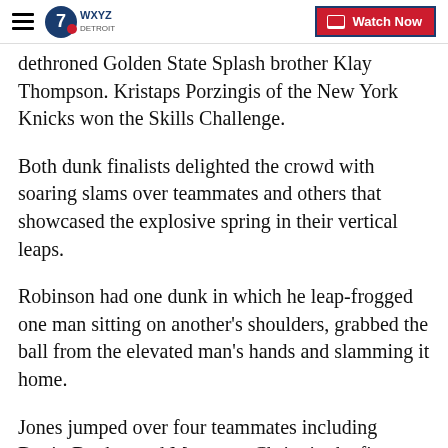WXYZ Detroit — Watch Now
dethroned Golden State Splash brother Klay Thompson. Kristaps Porzingis of the New York Knicks won the Skills Challenge.
Both dunk finalists delighted the crowd with soaring slams over teammates and others that showcased the explosive spring in their vertical leaps.
Robinson had one dunk in which he leap-frogged one man sitting on another's shoulders, grabbed the ball from the elevated man's hands and slamming it home.
Jones jumped over four teammates including Devin Booker and Marquese Chriss in the first round. He also drew roars from the crowd when he took a pass off the